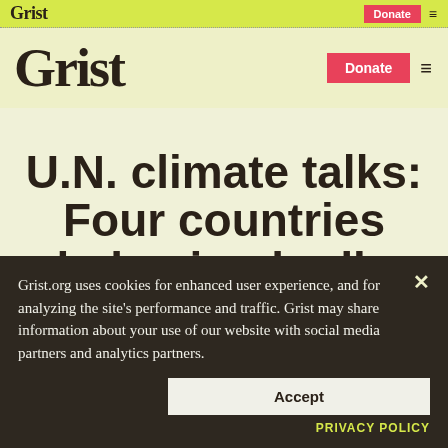Grist | Donate | ≡
Grist | Donate | ≡
U.N. climate talks: Four countries behaving badly
Grist.org uses cookies for enhanced user experience, and for analyzing the site's performance and traffic. Grist may share information about your use of our website with social media partners and analytics partners.
Accept
PRIVACY POLICY